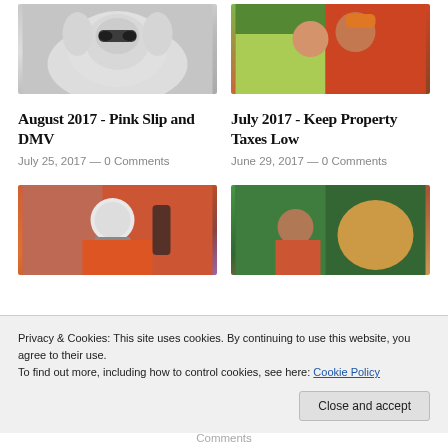[Figure (photo): White fluffy dog wearing sunglasses]
[Figure (photo): Two young boys hugging and smiling, one in yellow shirt, one in red shirt with orange cap]
August 2017 - Pink Slip and DMV
July 2017 - Keep Property Taxes Low
July 25, 2017 — 0 Comments
June 29, 2017 — 0 Comments
[Figure (photo): Young child wearing astronaut helmet giving thumbs up, in orange outfit]
[Figure (photo): Young child in red jacket with large stuffed deer/rabbit animal]
Privacy & Cookies: This site uses cookies. By continuing to use this website, you agree to their use.
To find out more, including how to control cookies, see here: Cookie Policy
Close and accept
Comments